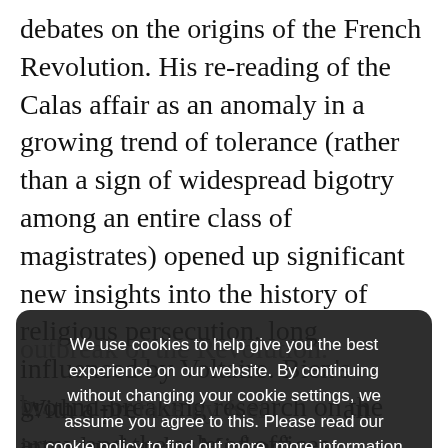debates on the origins of the French Revolution. His re-reading of the Calas affair as an anomaly in a growing trend of tolerance (rather than a sign of widespread bigotry among an entire class of magistrates) opened up significant new insights into the history of religious persecution, long influenced by Voltaire. Bien's ground-breaking research on the army and the sale of offices revealed the surprising extent of social mobility at the time and challenged the prevailing outbreak of the Revolution.
We use cookies to help give you the best experience on our website. By continuing without changing your cookie settings, we assume you agree to this. Please read our cookie policy to find out more. more information [Accept]
With a preface by Kei... an introduction by Michael Christofferson,